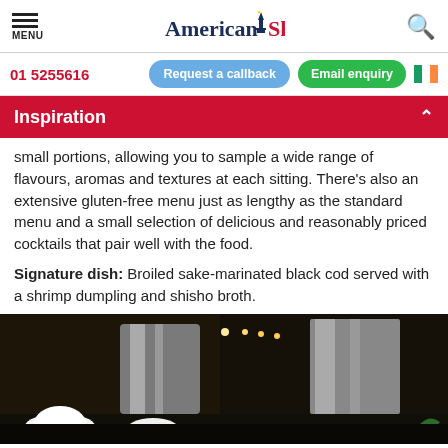MENU | American Sky | [search]
01 5255616
Request a callback | Email enquiry
Inspiration
small portions, allowing you to sample a wide range of flavours, aromas and textures at each sitting. There's also an extensive gluten-free menu just as lengthy as the standard menu and a small selection of delicious and reasonably priced cocktails that pair well with the food.
Signature dish: Broiled sake-marinated black cod served with a shrimp dumpling and shisho broth.
[Figure (photo): Dark kitchen interior with stainless steel equipment, lights, and white chef hats visible in the foreground]